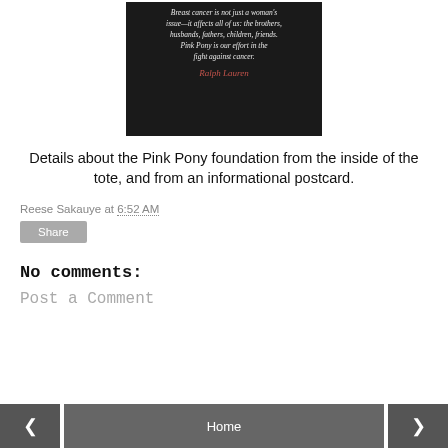[Figure (photo): Dark background image with white italic script text reading: 'Breast cancer is not just a woman's issue—it affects all of us: the brothers, husbands, fathers, children, friends. Pink Pony is our effort in the fight against cancer.' with a red cursive signature 'Ralph Lauren' below.]
Details about the Pink Pony foundation from the inside of the tote, and from an informational postcard.
Reese Sakauye at 6:52 AM
Share
No comments:
Post a Comment
◂  Home  ▸